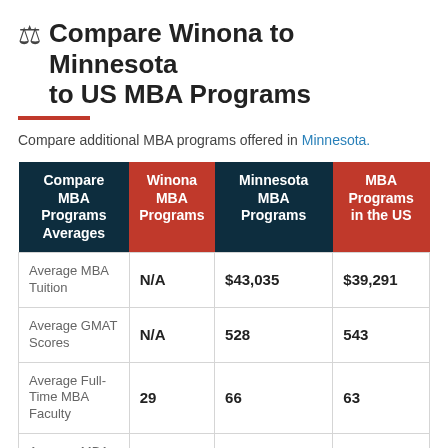Compare Winona to Minnesota to US MBA Programs
Compare additional MBA programs offered in Minnesota.
| Compare MBA Programs Averages | Winona MBA Programs | Minnesota MBA Programs | MBA Programs in the US |
| --- | --- | --- | --- |
| Average MBA Tuition | N/A | $43,035 | $39,291 |
| Average GMAT Scores | N/A | 528 | 543 |
| Average Full-Time MBA Faculty | 29 | 66 | 63 |
| Average MBA |  |  |  |